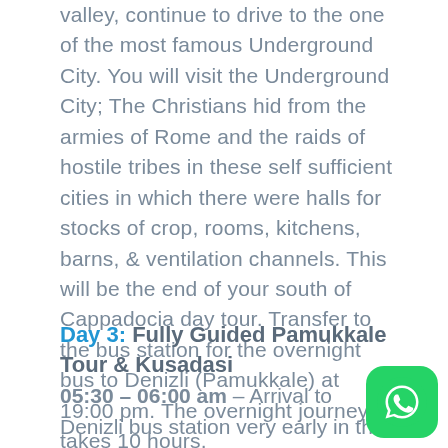valley, continue to drive to the one of the most famous Underground City. You will visit the Underground City; The Christians hid from the armies of Rome and the raids of hostile tribes in these self sufficient cities in which there were halls for stocks of crop, rooms, kitchens, barns, & ventilation channels. This will be the end of your south of Cappadocia day tour. Transfer to the bus station for the overnight bus to Denizli (Pamukkale) at 19:00 pm. The overnight journey takes 10 hours.
Day 3: Fully Guided Pamukkale Tour & Kusadasi
05:30 – 06:00 am – Arrival to Denizli bus station very early in the morning. You will be picked up from Denizli bus station and transfer to your h to freshen up. Check into the hotel and you will
[Figure (logo): WhatsApp logo button, green rounded square with white phone handset icon]